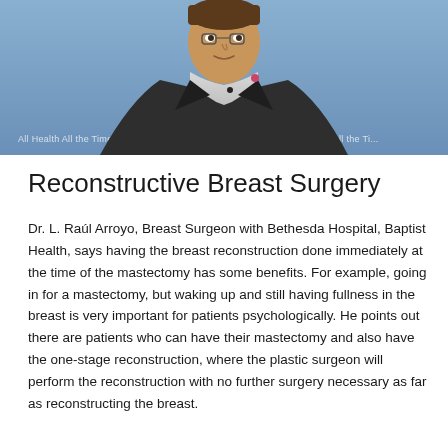[Figure (photo): A man in a dark suit jacket with a pink bow tie standing in front of a blue background with text 'All Health All the Time' visible on either side.]
Reconstructive Breast Surgery
Dr. L. Raúl Arroyo, Breast Surgeon with Bethesda Hospital, Baptist Health, says having the breast reconstruction done immediately at the time of the mastectomy has some benefits. For example, going in for a mastectomy, but waking up and still having fullness in the breast is very important for patients psychologically. He points out there are patients who can have their mastectomy and also have the one-stage reconstruction, where the plastic surgeon will perform the reconstruction with no further surgery necessary as far as reconstructing the breast.